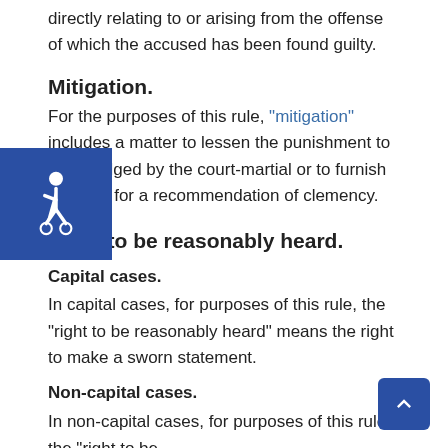directly relating to or arising from the offense of which the accused has been found guilty.
Mitigation.
For the purposes of this rule, “mitigation” includes a matter to lessen the punishment to be adjudged by the court-martial or to furnish grounds for a recommendation of clemency.
Right to be reasonably heard.
Capital cases.
In capital cases, for purposes of this rule, the “right to be reasonably heard” means the right to make a sworn statement.
Non-capital cases.
In non-capital cases, for purposes of this rule, the “right to be